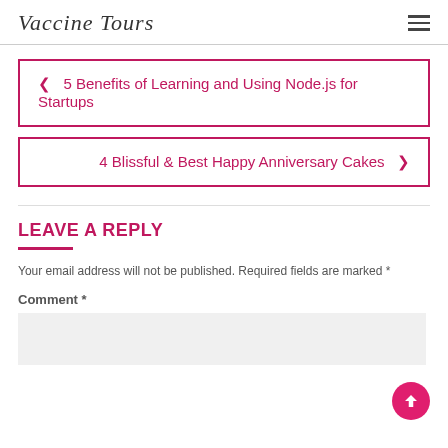Vaccine Tours
‹ 5 Benefits of Learning and Using Node.js for Startups
4 Blissful & Best Happy Anniversary Cakes ›
LEAVE A REPLY
Your email address will not be published. Required fields are marked *
Comment *